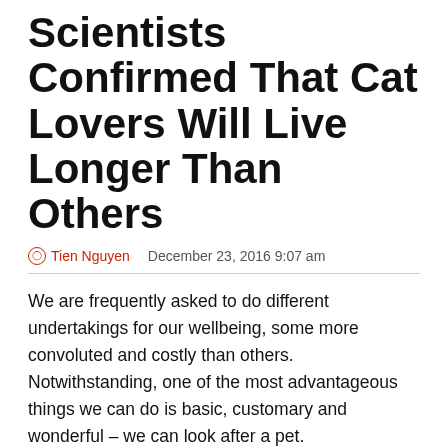Scientists Confirmed That Cat Lovers Will Live Longer Than Others
Tien Nguyen   December 23, 2016 9:07 am
We are frequently asked to do different undertakings for our wellbeing, some more convoluted and costly than others. Notwithstanding, one of the most advantageous things we can do is basic, customary and wonderful – we can look after a pet.
Individuals have delighted in the brotherhood of creatures for a large number of years, and it's basic learning that having a puppy urges you to go for solid strolls. As of late, however, investigate researchers have been